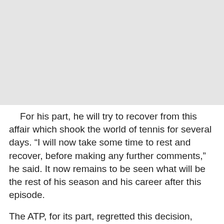[Figure (photo): Gray image placeholder at the top of the page]
For his part, he will try to recover from this affair which shook the world of tennis for several days. “I will now take some time to rest and recover, before making any further comments,” he said. It now remains to be seen what will be the rest of his season and his career after this episode.
The ATP, for its part, regretted this decision, considering that the absence of Novak Djokovic is “a loss for tennis” while strongly recommending